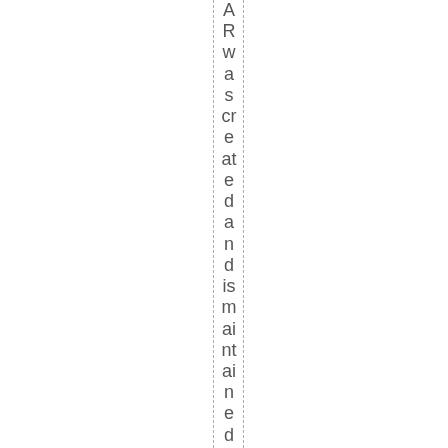AR was created and is maintained by art